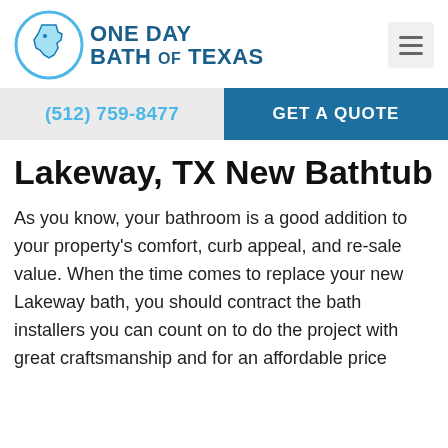One Day Bath of Texas
(512) 759-8477
GET A QUOTE
Lakeway, TX New Bathtub
As you know, your bathroom is a good addition to your property's comfort, curb appeal, and re-sale value. When the time comes to replace your new Lakeway bath, you should contract the bath installers you can count on to do the project with great craftsmanship and for an affordable price